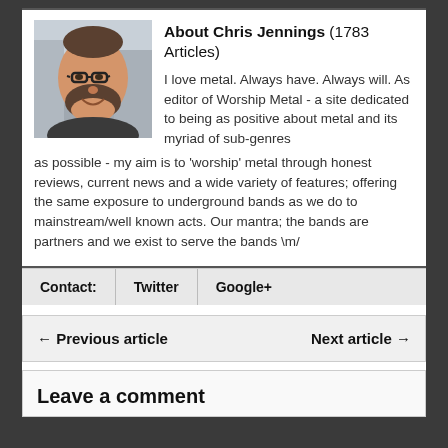[Figure (photo): Headshot photo of Chris Jennings, a smiling man with glasses and a beard, outdoors in an urban setting.]
About Chris Jennings (1783 Articles)
I love metal. Always have. Always will. As editor of Worship Metal - a site dedicated to being as positive about metal and its myriad of sub-genres as possible - my aim is to 'worship' metal through honest reviews, current news and a wide variety of features; offering the same exposure to underground bands as we do to mainstream/well known acts. Our mantra; the bands are partners and we exist to serve the bands \m/
Contact: | Twitter | Google+
← Previous article    Next article →
Leave a comment